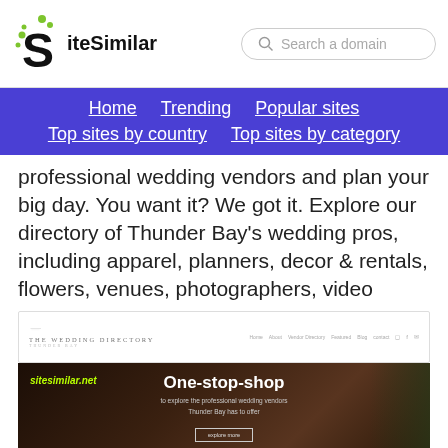[Figure (logo): SiteSimilar logo with green leaf dots and bold S icon, plus search box]
Home   Trending   Popular sites   Top sites by country   Top sites by category
professional wedding vendors and plan your big day. You want it? We got it. Explore our directory of Thunder Bay's wedding pros, including apparel, planners, decor & rentals, flowers, venues, photographers, video
[Figure (screenshot): Screenshot of The Wedding Directory Thunder Bay website showing logo nav and hero image with 'One-stop-shop' heading and sitesimilar.net watermark]